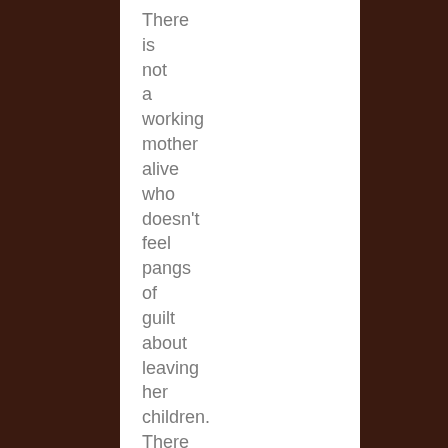There is not a working mother alive who doesn't feel pangs of guilt about leaving her children. There are probably very few